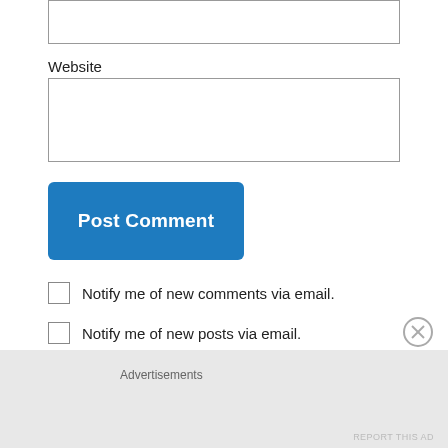[Figure (screenshot): Empty text input field (top, partially visible)]
Website
[Figure (screenshot): Website input field (empty, tall box)]
[Figure (screenshot): Post Comment button (blue rounded rectangle)]
Notify me of new comments via email.
Notify me of new posts via email.
This site uses Akismet to reduce spam. Learn how your comment data is processed.
Advertisements
REPORT THIS AD